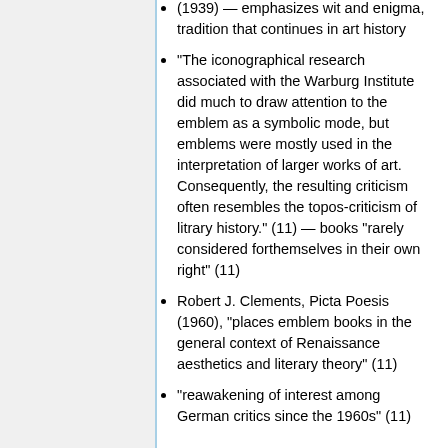(1939) — emphasizes wit and enigma, tradition that continues in art history
“The iconographical research associated with the Warburg Institute did much to draw attention to the emblem as a symbolic mode, but emblems were mostly used in the interpretation of larger works of art. Consequently, the resulting criticism often resembles the topos-criticism of litrary history.” (11) — books “rarely considered forthemselves in their own right” (11)
Robert J. Clements, Picta Poesis (1960), “places emblem books in the general context of Renaissance aesthetics and literary theory” (11)
“reawakening of interest among German critics since the 1960s” (11)